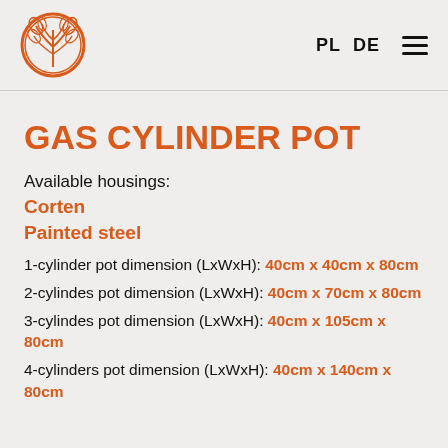PL  DE  [menu icon]
GAS CYLINDER POT
Available housings:
Corten
Painted steel
1-cylinder pot dimension (LxWxH): 40cm x 40cm x 80cm
2-cylindes pot dimension (LxWxH): 40cm x 70cm x 80cm
3-cylindes pot dimension (LxWxH): 40cm x 105cm x 80cm
4-cylinders pot dimension (LxWxH): 40cm x 140cm x 80cm